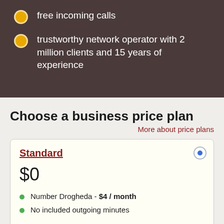free incoming calls
trustworthy network operator with 2 million clients and 15 years of experience
Choose a business price plan
More about price plans
Standard
$0
Number Drogheda - $4 / month
No included outgoing minutes